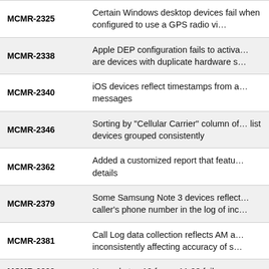| ID | Description |
| --- | --- |
| MCMR-2325 | Certain Windows desktop devices fail when configured to use a GPS radio vi… |
| MCMR-2338 | Apple DEP configuration fails to activa… are devices with duplicate hardware s… |
| MCMR-2340 | iOS devices reflect timestamps from a… messages |
| MCMR-2346 | Sorting by "Cellular Carrier" column of… list devices grouped consistently |
| MCMR-2362 | Added a customized report that featu… details |
| MCMR-2379 | Some Samsung Note 3 devices reflect… caller's phone number in the log of inc… |
| MCMR-2381 | Call Log data collection reflects AM a… inconsistently affecting accuracy of s… |
| MCMR-2399 | Upgrade to v12 from v11.03 fails on a s… |
|  | … |